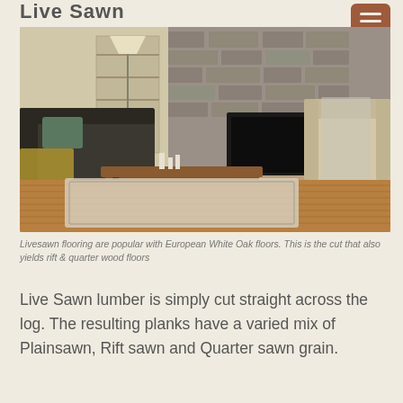Live Sawn
[Figure (photo): A cozy living room with hardwood floors, a stone fireplace, a wooden coffee table, dark sofa, and beige armchair on a patterned rug. The flooring is European White Oak livesawn hardwood.]
Livesawn flooring are popular with European White Oak floors. This is the cut that also yields rift & quarter wood floors
Live Sawn lumber is simply cut straight across the log. The resulting planks have a varied mix of Plainsawn, Rift sawn and Quarter sawn grain.